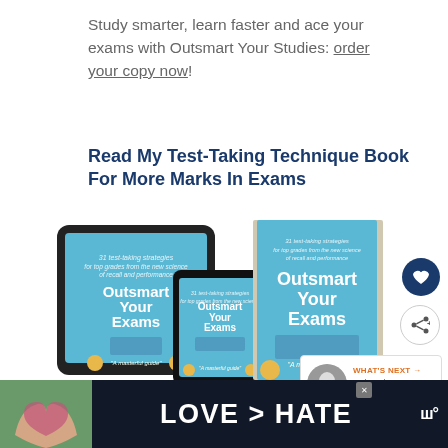Study smarter, learn faster and ace your exams with Outsmart Your Studies: order your copy now!
Read My Test-Taking Technique Book For More Marks In Exams
[Figure (photo): Photo showing three versions of the book 'Outsmart Your Exams' — on a tablet, a smartphone, and as a physical book — all with a blue cover featuring a school desk and chair.]
[Figure (infographic): Ad banner at the bottom with dark background showing hands forming a heart shape, and the text 'LOVE > HATE' in white bold letters with a close button and a logo.]